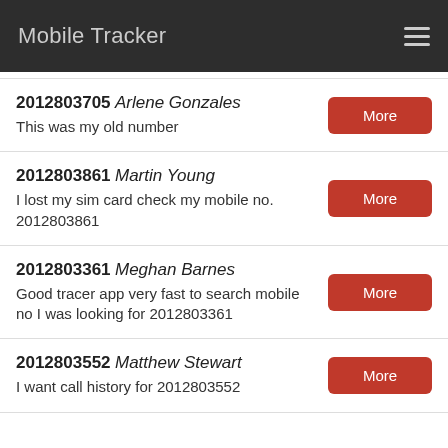Mobile Tracker
2012803705 Arlene Gonzales
This was my old number
2012803861 Martin Young
I lost my sim card check my mobile no. 2012803861
2012803361 Meghan Barnes
Good tracer app very fast to search mobile no I was looking for 2012803361
2012803552 Matthew Stewart
I want call history for 2012803552